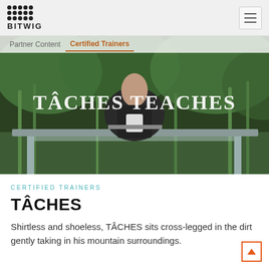BITWIG
[Figure (photo): Hero banner photo showing a person standing behind an outdoor table with tall green plants/bushes in the background. Large text overlay reads 'TÂCHES TEACHES'. Navigation tabs for Partner Content and Certified Trainers overlay the top of the image.]
CERTIFIED TRAINERS
TÂCHES
Shirtless and shoeless, TÂCHES sits cross-legged in the dirt gently taking in his mountain surroundings.